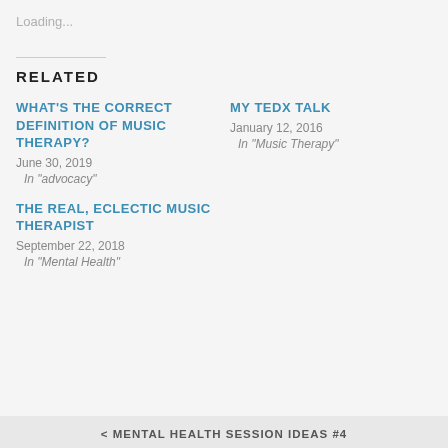Loading...
RELATED
WHAT'S THE CORRECT DEFINITION OF MUSIC THERAPY?
June 30, 2019
In "advocacy"
MY TEDX TALK
January 12, 2016
In "Music Therapy"
THE REAL, ECLECTIC MUSIC THERAPIST
September 22, 2018
In "Mental Health"
< MENTAL HEALTH SESSION IDEAS #4